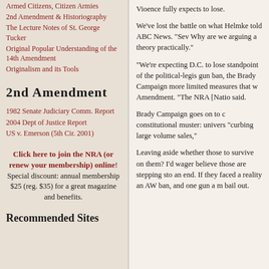Armed Citizens, Citizen Armies
2nd Amendment & Historiography
The Lecture Notes of St. George Tucker
Original Popular Understanding of the 14th Amendment
Originalism and its Tools
2nd Amendment
1982 Senate Judiciary Comm. Report
2004 Dept of Justice Report
US v. Emerson (5th Cir. 2001)
Click here to join the NRA (or renew your membership) online! Special discount: annual membership $25 (reg. $35) for a great magazine and benefits.
Recommended Sites
Vioence fully expects to lose.
We've lost the battle on what Helmke told ABC News. "Sev Why are we arguing a theory practically."
"We're expecting D.C. to lose standpoint of the political-legis gun ban, the Brady Campaign more limited measures that w Amendment. "The NRA [Natio said.
Brady Campaign goes on to c constitutional muster: univers "curbing large volume sales,"
Leaving aside whether those to survive on them? I'd wager believe those are stepping sto an end. If they faced a reality an AW ban, and one gun a m bail out.